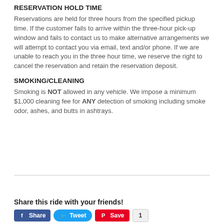RESERVATION HOLD TIME
Reservations are held for three hours from the specified pickup time. If the customer fails to arrive within the three-hour pick-up window and fails to contact us to make alternative arrangements we will attempt to contact you via email, text and/or phone. If we are unable to reach you in the three hour time, we reserve the right to cancel the reservation and retain the reservation deposit.
SMOKING/CLEANING
Smoking is NOT allowed in any vehicle. We impose a minimum $1,000 cleaning fee for ANY detection of smoking including smoke odor, ashes, and butts in ashtrays.
Share this ride with your friends!